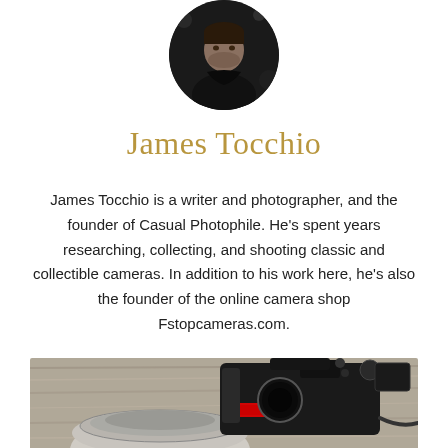[Figure (photo): Circular profile photo of James Tocchio, a man in a dark shirt against a dark background]
James Tocchio
James Tocchio is a writer and photographer, and the founder of Casual Photophile. He's spent years researching, collecting, and shooting classic and collectible cameras. In addition to his work here, he's also the founder of the online camera shop Fstopcameras.com.
[Figure (photo): Close-up photo of a modern mirrorless camera (Nikon) with lens on a wooden surface]